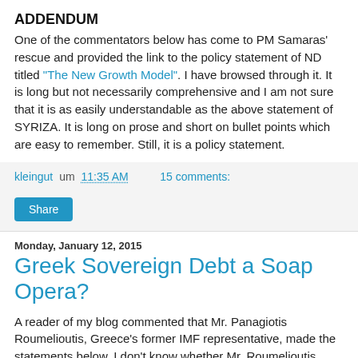ADDENDUM
One of the commentators below has come to PM Samaras' rescue and provided the link to the policy statement of ND titled "The New Growth Model". I have browsed through it. It is long but not necessarily comprehensive and I am not sure that it is as easily understandable as the above statement of SYRIZA. It is long on prose and short on bullet points which are easy to remember. Still, it is a policy statement.
kleingut um 11:35 AM     15 comments:
Share
Monday, January 12, 2015
Greek Sovereign Debt a Soap Opera?
A reader of my blog commented that Mr. Panagiotis Roumelioutis, Greece's former IMF representative, made the statements below. I don't know whether Mr. Roumelioutis